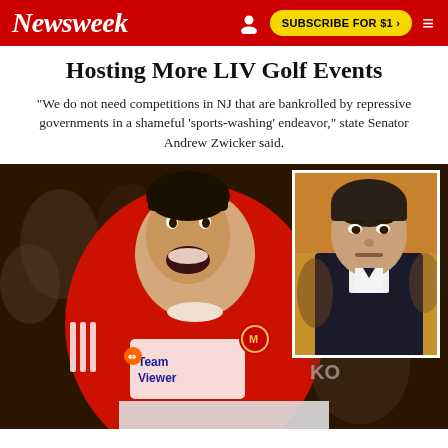Newsweek | SUBSCRIBE FOR $1 >
Hosting More LIV Golf Events
"We do not need competitions in NJ that are bankrolled by repressive governments in a shameful 'sports-washing' endeavor," state Senator Andrew Zwicker said.
[Figure (photo): Main image: soccer player in red Manchester United kit (TeamViewer sponsor) with mouth open in celebration or shock expression; inset photo: man in dark suit with serious expression against orange/warm background]